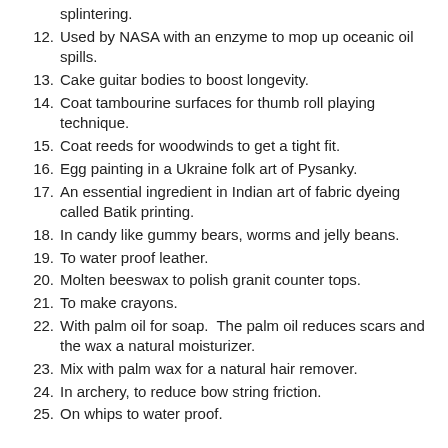splintering.
12. Used by NASA with an enzyme to mop up oceanic oil spills.
13. Cake guitar bodies to boost longevity.
14. Coat tambourine surfaces for thumb roll playing technique.
15. Coat reeds for woodwinds to get a tight fit.
16. Egg painting in a Ukraine folk art of Pysanky.
17. An essential ingredient in Indian art of fabric dyeing called Batik printing.
18. In candy like gummy bears, worms and jelly beans.
19. To water proof leather.
20. Molten beeswax to polish granit counter tops.
21. To make crayons.
22. With palm oil for soap.  The palm oil reduces scars and the wax a natural moisturizer.
23. Mix with palm wax for a natural hair remover.
24. In archery, to reduce bow string friction.
25. On whips to water proof.